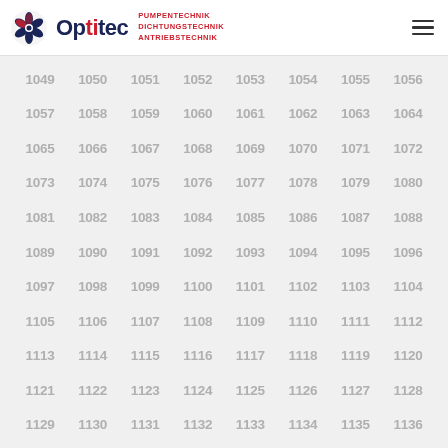[Figure (logo): Optitec logo with gear/fan icon, blue and red text, taglines: PUMPENTECHNIK, DICHTUNGSTECHNIK, ANTRIEBSTECHNIK]
| 1049 | 1050 | 1051 | 1052 | 1053 | 1054 | 1055 | 1056 |
| 1057 | 1058 | 1059 | 1060 | 1061 | 1062 | 1063 | 1064 |
| 1065 | 1066 | 1067 | 1068 | 1069 | 1070 | 1071 | 1072 |
| 1073 | 1074 | 1075 | 1076 | 1077 | 1078 | 1079 | 1080 |
| 1081 | 1082 | 1083 | 1084 | 1085 | 1086 | 1087 | 1088 |
| 1089 | 1090 | 1091 | 1092 | 1093 | 1094 | 1095 | 1096 |
| 1097 | 1098 | 1099 | 1100 | 1101 | 1102 | 1103 | 1104 |
| 1105 | 1106 | 1107 | 1108 | 1109 | 1110 | 1111 | 1112 |
| 1113 | 1114 | 1115 | 1116 | 1117 | 1118 | 1119 | 1120 |
| 1121 | 1122 | 1123 | 1124 | 1125 | 1126 | 1127 | 1128 |
| 1129 | 1130 | 1131 | 1132 | 1133 | 1134 | 1135 | 1136 |